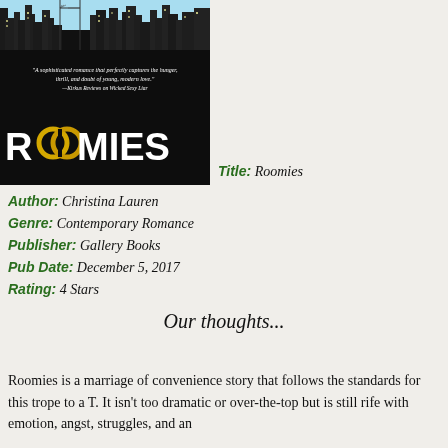[Figure (illustration): Book cover for 'Roomies' by Christina Lauren. Black background with city skyline illustration at top. White bold text reading ROOMIES with two golden interlocking rings replacing the two O letters. Small italic quote text: 'A sophisticated romance that perfectly captures the hunger, thrill, and doubt of young, modern love.' —Kirkus Reviews on Wicked Sexy Liar]
Title: Roomies
Author: Christina Lauren
Genre: Contemporary Romance
Publisher: Gallery Books
Pub Date: December 5, 2017
Rating: 4 Stars
Our thoughts...
Roomies is a marriage of convenience story that follows the standards for this trope to a T. It isn't too dramatic or over-the-top but is still rife with emotion, angst, struggles, and an